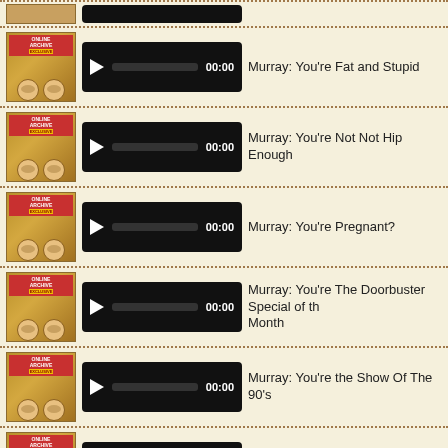Murray: You're Fat and Stupid
Murray: You're Not Not Hip Enough
Murray: You're Pregnant?
Murray: You're The Doorbuster Special of the Month
Murray: You're the Show Of The 90's
Murray: Your Out Sick Act Is Pure Genius
Murray: Your TNN Special Is In the Can!
Murray: Zombies in the Marley's Revenge Movie
Murray: Zoom Zoom!